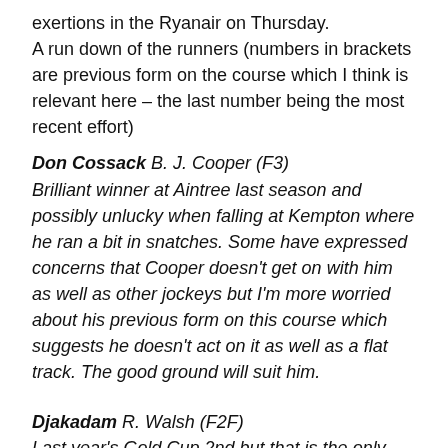exertions in the Ryanair on Thursday.
A run down of the runners (numbers in brackets are previous form on the course which I think is relevant here – the last number being the most recent effort)
Don Cossack B. J. Cooper (F3)
Brilliant winner at Aintree last season and possibly unlucky when falling at Kempton where he ran a bit in snatches. Some have expressed concerns that Cooper doesn't get on with him as well as other jockeys but I'm more worried about his previous form on this course which suggests he doesn't act on it as well as a flat track. The good ground will suit him.
Djakadam R. Walsh (F2F)
Last year's Gold Cup 2nd but that is the only time he has completed here in 3 attempts. May want softer ground and